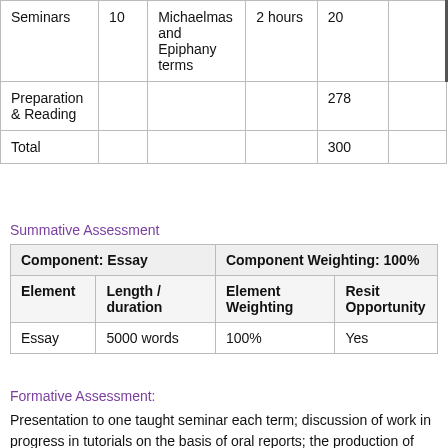|  |  |  |  |  |  |
| --- | --- | --- | --- | --- | --- |
| Seminars | 10 | Michaelmas and Epiphany terms | 2 hours | 20 |  |
| Preparation & Reading |  |  |  | 278 |  |
| Total |  |  |  | 300 |  |
Summative Assessment
| Component: Essay |  | Component Weighting: 100% |  |
| --- | --- | --- | --- |
| Element | Length / duration | Element Weighting | Resit Opportunity |
| Essay | 5000 words | 100% | Yes |
Formative Assessment:
Presentation to one taught seminar each term; discussion of work in progress in tutorials on the basis of oral reports; the production of